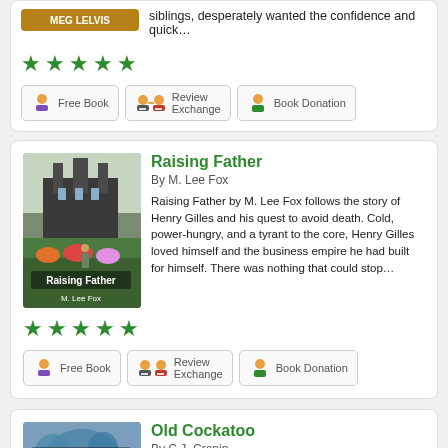siblings, desperately wanted the confidence and quick…
[Figure (other): Five green star rating icons]
[Figure (other): Three action buttons: Free Book, Review Exchange, Book Donation]
Raising Father
By M. Lee Fox
[Figure (photo): Book cover of Raising Father by M. Lee Fox showing a gothic building and garden]
Raising Father by M. Lee Fox follows the story of Henry Gilles and his quest to avoid death. Cold, power-hungry, and a tyrant to the core, Henry Gilles loved himself and the business empire he had built for himself. There was nothing that could stop…
[Figure (other): Five green star rating icons]
[Figure (other): Three action buttons: Free Book, Review Exchange, Book Donation]
Old Cockatoo
By C.J. Cronin
[Figure (photo): Book cover of Old Cockatoo by C.J. Cronin]
Old Cockatoo by C.J. Cronin is a gripping drama novel that follows the lives of an Australian family of horse trainers